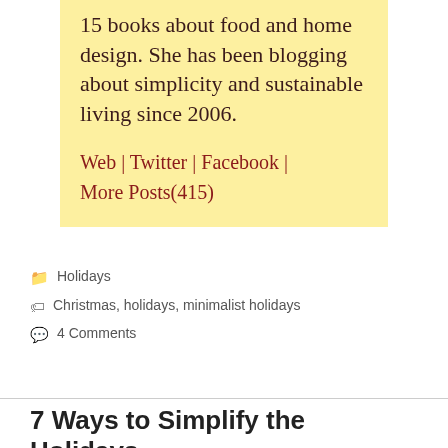15 books about food and home design. She has been blogging about simplicity and sustainable living since 2006.
Web | Twitter | Facebook | More Posts(415)
Holidays
Christmas, holidays, minimalist holidays
4 Comments
7 Ways to Simplify the Holidays